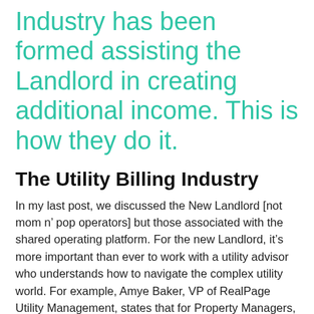Industry has been formed assisting the Landlord in creating additional income. This is how they do it.
The Utility Billing Industry
In my last post, we discussed the New Landlord [not mom n’ pop operators] but those associated with the shared operating platform. For the new Landlord, it’s more important than ever to work with a utility advisor who understands how to navigate the complex utility world. For example, Amye Baker, VP of RealPage Utility Management, states that for Property Managers, saving money on utilities can be done simply by understanding legal compliance. A